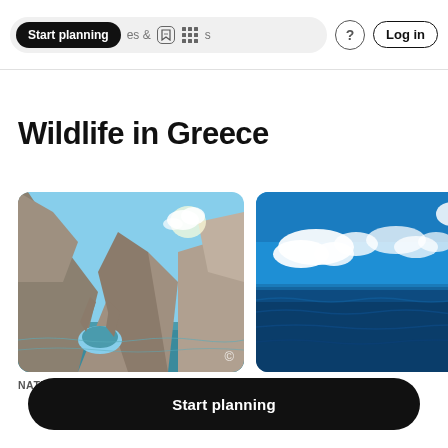Start planning | es & Activities | ? | Log in
Wildlife in Greece
[Figure (photo): Rocky coastal cliffs with an arch over turquoise water, Greece]
NATURE / WILDLIFE TOUR
[Figure (photo): Open blue sea with clouds on the horizon, Greece]
FISHING CHARTER / TOUR
Start planning